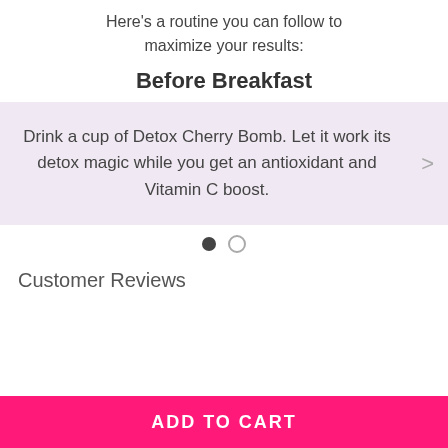Here's a routine you can follow to maximize your results:
Before Breakfast
Drink a cup of Detox Cherry Bomb. Let it work its detox magic while you get an antioxidant and Vitamin C boost.
Customer Reviews
ADD TO CART